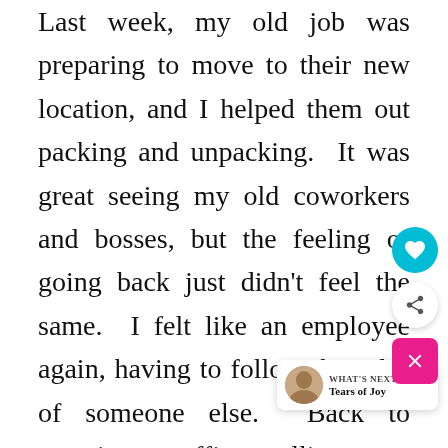Last week, my old job was preparing to move to their new location, and I helped them out packing and unpacking. It was great seeing my old coworkers and bosses, but the feeling of going back just didn't feel the same. I felt like an employee again, having to follow the rules of someone else. Back to morning traffic, telling my daughters I couldn't spend time with them due to having to help my [job] move, breaking a promise we had ab[out] going to the movies to see Kung Fu[...] Also, I found myself back eating fast foo[d]